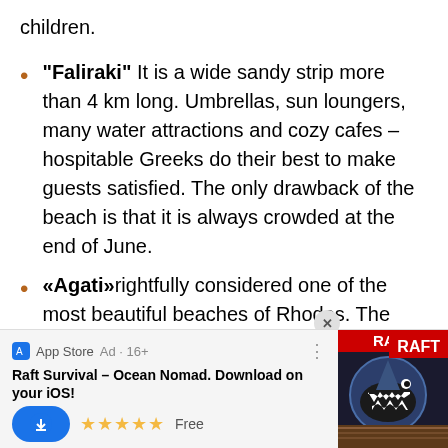children.
"Faliraki" It is a wide sandy strip more than 4 km long. Umbrellas, sun loungers, many water attractions and cozy cafes – hospitable Greeks do their best to make guests satisfied. The only drawback of the beach is that it is always crowded at the end of June.
«Agati»rightfully considered one of the most beautiful beaches of Rhodes. The
[Figure (screenshot): App Store advertisement banner for Raft Survival – Ocean Nomad iOS app, showing download button, 5 star rating, 'Free' label, and shark image with RAFT logo. Age rating 16+. Close (X) button visible.]